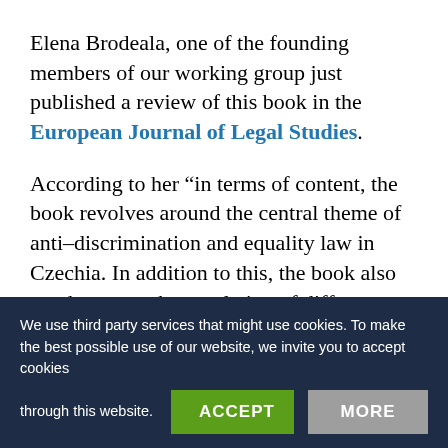Elena Brodeala, one of the founding members of our working group just published a review of this book in the European Journal of Legal Studies.
According to her “in terms of content, the book revolves around the central theme of anti-discrimination and equality law in Czechia. In addition to this, the book also touches upon the regulation of different domains relevant for
We use third party services that might use cookies. To make the best possible use of our website, we invite you to accept cookies through this website.
include issues such as the rejection of